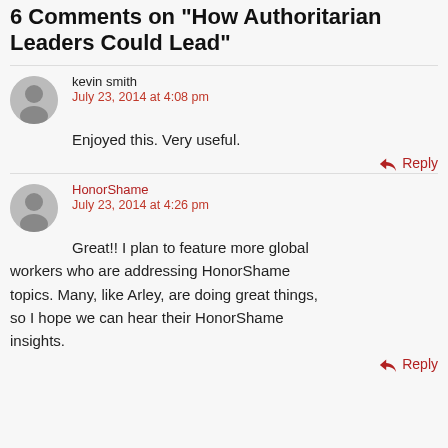6 Comments on "How Authoritarian Leaders Could Lead"
kevin smith
July 23, 2014 at 4:08 pm
Enjoyed this. Very useful.
HonorShame
July 23, 2014 at 4:26 pm
Great!! I plan to feature more global workers who are addressing HonorShame topics. Many, like Arley, are doing great things, so I hope we can hear their HonorShame insights.